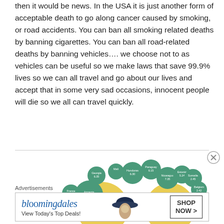then it would be news. In the USA it is just another form of acceptable death to go along cancer caused by smoking, or road accidents. You can ban all smoking related deaths by banning cigarettes. You can ban all road-related deaths by banning vehicles…. we choose not to as vehicles can be useful so we make laws that save 99.9% lives so we can all travel and go about our lives and accept that in some very sad occasions, innocent people will die so we all can travel quickly.
[Figure (bubble-chart): Bubble chart showing various countries with labeled circles in teal/green and yellow colors. Countries include Georgia, Mali, Honduras, Paraguay, Nicaragua, Estonia, Jamaica, Sweden, Canada, Philippines, France, Armenia, Somalia, Belgium, Bulgaria, Croatia, and others with numeric values.]
Advertisements
[Figure (other): Bloomingdale's advertisement banner reading 'bloomingdales View Today's Top Deals!' with a woman in a hat and a 'SHOP NOW >' button.]